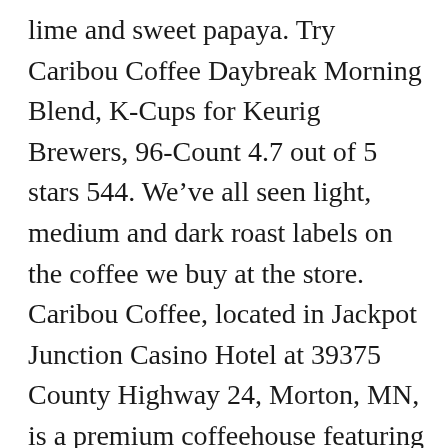lime and sweet papaya. Try Caribou Coffee Daybreak Morning Blend, K-Cups for Keurig Brewers, 96-Count 4.7 out of 5 stars 544. We've all seen light, medium and dark roast labels on the coffee we buy at the store. Caribou Coffee, located in Jackpot Junction Casino Hotel at 39375 County Highway 24, Morton, MN, is a premium coffeehouse featuring high-quality, handcrafted beverages and food. As roasting temperatures increase, some caffeine gets burnt off in the process, making light roast coffee the best choice for morning efficiency. Caribou Coffee Caribou Blend Medium Roast Ground Coffee – 12oz (312) Keurig. In fact, Caribou Coffee is the first major U.S.